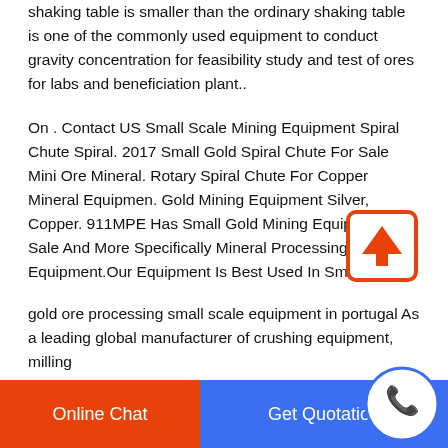shaking table is smaller than the ordinary shaking table is one of the commonly used equipment to conduct gravity concentration for feasibility study and test of ores for labs and beneficiation plant..
On . Contact US Small Scale Mining Equipment Spiral Chute Spiral. 2017 Small Gold Spiral Chute For Sale Mini Ore Mineral. Rotary Spiral Chute For Copper Mineral Equipmen. Gold Mining Equipment Silver, Copper. 911MPE Has Small Gold Mining Equipment For Sale And More Specifically Mineral Processing Equipment.Our Equipment Is Best Used In Small
[Figure (other): Upload/scroll up arrow icon with orange border on white background]
gold ore processing small scale equipment in portugal As a leading global manufacturer of crushing equipment, milling
[Figure (infographic): Footer bar with orange 'Online Chat' button, blue 'Get Quotation' button, and circular phone icon on right]